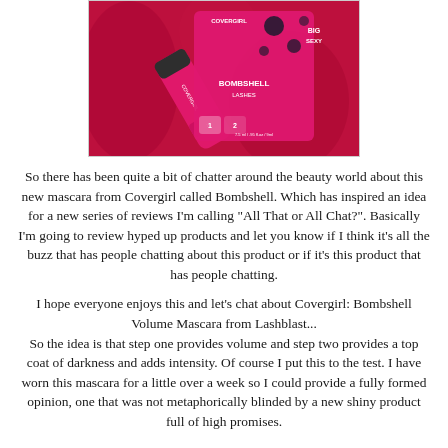[Figure (photo): Photo of CoverGirl Bombshell Volume Mascara product in pink packaging on red fabric background]
So there has been quite a bit of chatter around the beauty world about this new mascara from Covergirl called Bombshell. Which has inspired an idea for a new series of reviews I'm calling "All That or All Chat?". Basically I'm going to review hyped up products and let you know if I think it's all the buzz that has people chatting about this product or if it's this product that has people chatting.
I hope everyone enjoys this and let’s chat about Covergirl: Bombshell Volume Mascara from Lashblast...
So the idea is that step one provides volume and step two provides a top coat of darkness and adds intensity. Of course I put this to the test. I have worn this mascara for a little over a week so I could provide a fully formed opinion, one that was not metaphorically blinded by a new shiny product full of high promises.